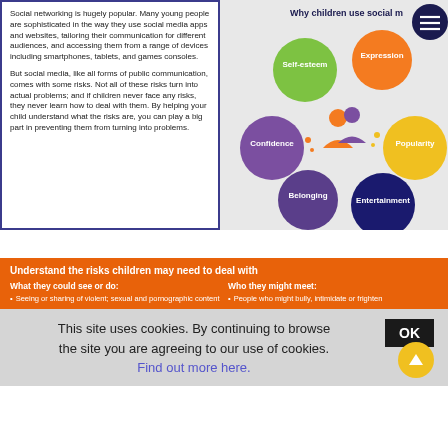Social networking is hugely popular. Many young people are sophisticated in the way they use social media apps and websites, tailoring their communication for different audiences, and accessing them from a range of devices including smartphones, tablets, and games consoles.

But social media, like all forms of public communication, comes with some risks. Not all of these risks turn into actual problems; and if children never face any risks, they never learn how to deal with them. By helping your child understand what the risks are, you can play a big part in preventing them from turning into problems.
[Figure (infographic): Circular diagram showing 'Why children use social media' with six coloured circles labelled: Self-esteem (green), Expression (orange), Confidence (purple), Popularity (yellow), Belonging (purple), Entertainment (dark purple/navy). Two child figures in the centre.]
Understand the risks children may need to deal with
What they could do or do:
• Seeing or sharing of violent; sexual and pornographic content
Who they might meet:
• People who might bully, intimidate or frighten
This site uses cookies. By continuing to browse the site you are agreeing to our use of cookies. Find out more here.